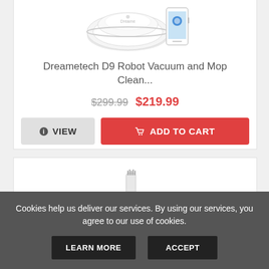[Figure (photo): Dreametech D9 Robot Vacuum and Mop with smartphone showing app]
Dreametech D9 Robot Vacuum and Mop Clean...
$299.99 $219.99
VIEW | ADD TO CART
[Figure (photo): Electric toothbrush product image]
Cookies help us deliver our services. By using our services, you agree to our use of cookies.
LEARN MORE | ACCEPT